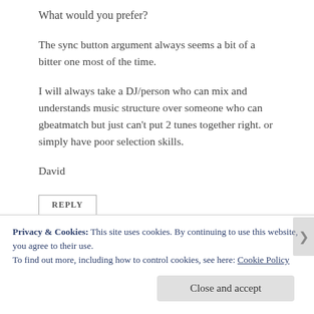What would you prefer?
The sync button argument always seems a bit of a bitter one most of the time.
I will always take a DJ/person who can mix and understands music structure over someone who can gbeatmatch but just can't put 2 tunes together right. or simply have poor selection skills.
David
REPLY
Privacy & Cookies: This site uses cookies. By continuing to use this website, you agree to their use.
To find out more, including how to control cookies, see here: Cookie Policy
Close and accept